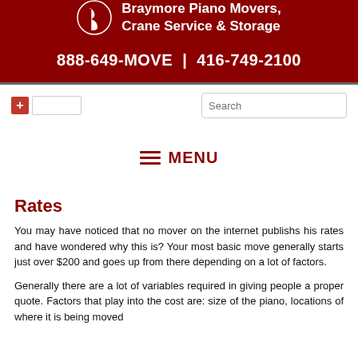Braymore Piano Movers, Crane Service & Storage
888-649-MOVE | 416-749-2100
[Figure (screenshot): Plus button and text input box on the left; search box with magnifying glass icon on the right]
≡ MENU
Rates
You may have noticed that no mover on the internet publishs his rates and have wondered why this is? Your most basic move generally starts just over $200 and goes up from there depending on a lot of factors.
Generally there are a lot of variables required in giving people a proper quote. Factors that play into the cost are: size of the piano, locations of where it is being moved